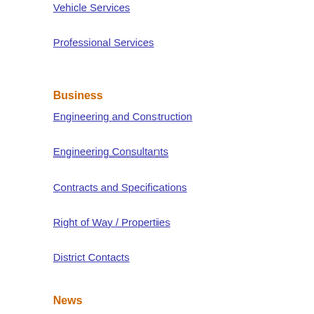Vehicle Services
Professional Services
Business
Engineering and Construction
Engineering Consultants
Contracts and Specifications
Right of Way / Properties
District Contacts
News
ADOT Blog
News Releases
Arizona Highways Magazine
Translate
[Figure (screenshot): Google Translate widget with Select Language dropdown]